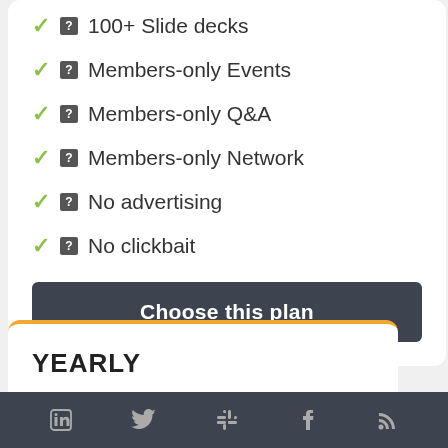✓ 100+ Slide decks
✓ Members-only Events
✓ Members-only Q&A
✓ Members-only Network
✓ No advertising
✓ No clickbait
Choose this plan
YEARLY
LinkedIn | Twitter | Slack | Facebook | RSS